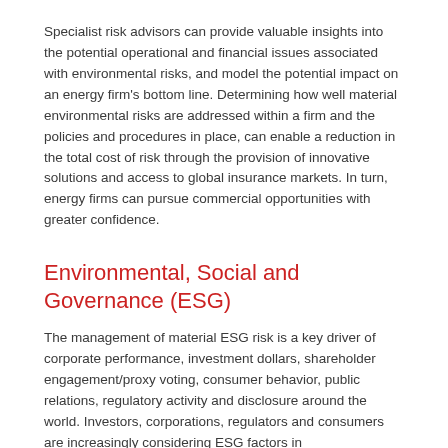Specialist risk advisors can provide valuable insights into the potential operational and financial issues associated with environmental risks, and model the potential impact on an energy firm's bottom line. Determining how well material environmental risks are addressed within a firm and the policies and procedures in place, can enable a reduction in the total cost of risk through the provision of innovative solutions and access to global insurance markets. In turn, energy firms can pursue commercial opportunities with greater confidence.
Environmental, Social and Governance (ESG)
The management of material ESG risk is a key driver of corporate performance, investment dollars, shareholder engagement/proxy voting, consumer behavior, public relations, regulatory activity and disclosure around the world. Investors, corporations, regulators and consumers are increasingly considering ESG factors in